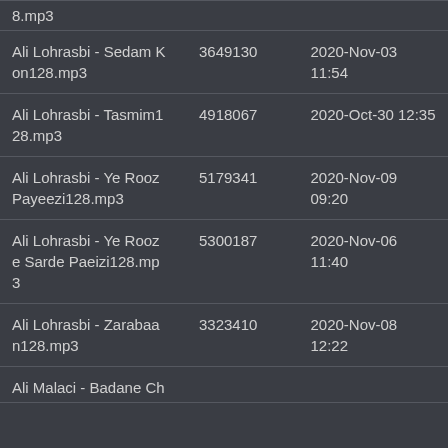| Name | Size | Date |
| --- | --- | --- |
| 8.mp3 |  |  |
| Ali Lohrasbi - Sedam Kon128.mp3 | 3649130 | 2020-Nov-03 11:54 |
| Ali Lohrasbi - Tasmim128.mp3 | 4918067 | 2020-Oct-30 12:35 |
| Ali Lohrasbi - Ye Rooz Payeezi128.mp3 | 5179341 | 2020-Nov-09 09:20 |
| Ali Lohrasbi - Ye Rooze Sarde Paeizi128.mp3 | 5300187 | 2020-Nov-06 11:40 |
| Ali Lohrasbi - Zarabaan128.mp3 | 3323410 | 2020-Nov-08 12:22 |
| Ali Malaci - Badane Ch |  |  |